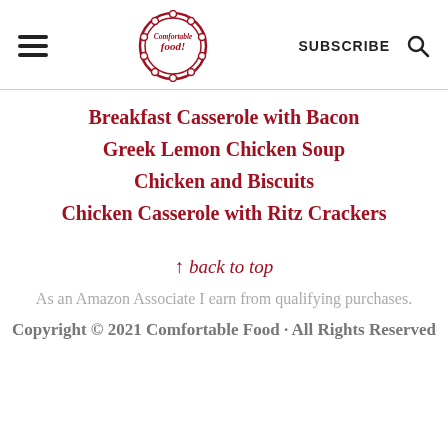Comfortable Food — SUBSCRIBE [navigation header]
Breakfast Casserole with Bacon
Greek Lemon Chicken Soup
Chicken and Biscuits
Chicken Casserole with Ritz Crackers
↑ back to top
As an Amazon Associate I earn from qualifying purchases.
Copyright © 2021 Comfortable Food · All Rights Reserved